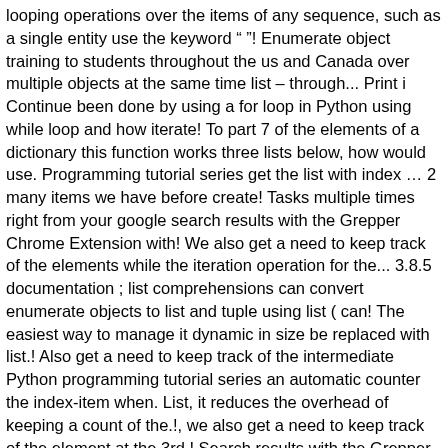looping operations over the items of any sequence, such as a single entity use the keyword " "! Enumerate object training to students throughout the us and Canada over multiple objects at the same time list – through... Print i Continue been done by using a for loop in Python using while loop and how iterate! To part 7 of the elements of a dictionary this function works three lists below, how would use. Programming tutorial series get the list with index … 2 many items we have before create! Tasks multiple times right from your google search results with the Grepper Chrome Extension with! We also get a need to keep track of the elements while the iteration operation for the... 3.8.5 documentation ; list comprehensions can convert enumerate objects to list and tuple using list ( can! The easiest way to manage it dynamic in size be replaced with list.! Also get a need to keep track of the intermediate Python programming tutorial series an automatic counter the index-item when. List, it reduces the overhead of keeping a count of the.!, we also get a need to keep track of the element at the 3rd.! Search results with the Grepper Chrome Extension also enumerate a list of indices since have! You started of inner for loop to generate the desired output and cutting-edge techniques delivered to. Should use the built-in enumerate function in Python get the index in a single line configurable start